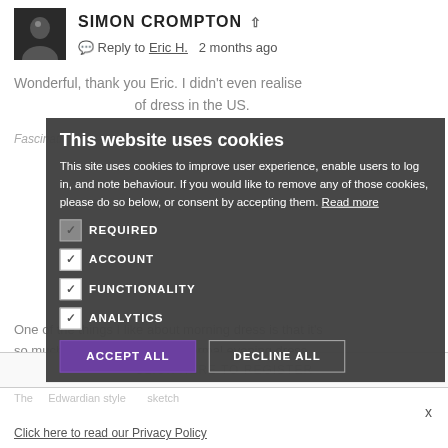[Figure (screenshot): Website comment section screenshot with cookie consent modal overlay. Shows author 'Simon Crompton' with avatar photo, reply to Eric H. 2 months ago, background article text about morning dress, and a dark cookie consent dialog with checkboxes for REQUIRED, ACCOUNT, FUNCTIONALITY, ANALYTICS, and buttons ACCEPT ALL and DECLINE ALL.]
SIMON CROMPTON
Reply to Eric H. 2 months ago
Wonderful, thank you Eric. I didn't even realise ... of dress in the US.
This website uses cookies
This site uses cookies to improve user experience, enable users to log in, and note behaviour. If you would like to remove any of those cookies, please do so below, or consent by accepting them. Read more
REQUIRED
ACCOUNT
FUNCTIONALITY
ANALYTICS
One of the things I like about morning dress is that it's so much more individual than formal evening dress. The starting point of a tailcoat but beyond
ACCEPT ALL
DECLINE ALL
CLICK HERE TO REGISTER
Click here to read our Privacy Policy